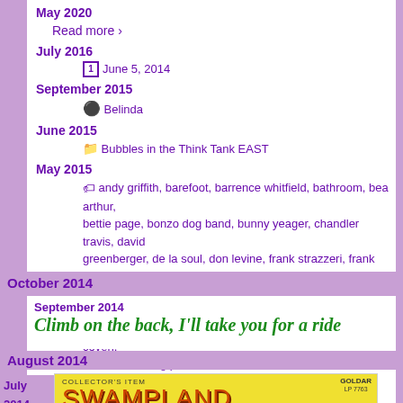May 2020
Read more ›
July 2016
📅 June 5, 2014
September 2015
👤 Belinda
June 2015
📁 Bubbles in the Think Tank EAST
May 2015
🏷 andy griffith, barefoot, barrence whitfield, bathroom, bea arthur, bettie page, bonzo dog band, bunny yeager, chandler travis, david greenberger, de la soul, don levine, frank strazzeri, frank zappa, g.i. joe, herb jeffries, incredible casuals, maya angelou, naked, nude, paul ciminione, paulette, pete labonne, ralph carney, randy coven, ruth wallis, song poem, stereo total, undress
April 2015
January 2015
December 2014
November 2014
October 2014
September 2014
Climb on the back, I'll take you for a ride
August 2014
July 2014
June 2014
[Figure (photo): Album cover for Swampland Jewels - yellow background with large orange/red text saying SWAMPLAND JEWELS, COLLECTOR'S ITEM label, album number LP 7763]